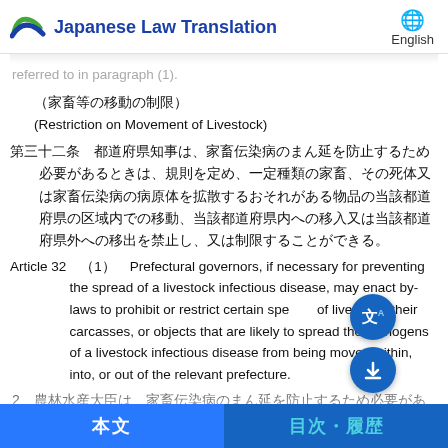Japanese Law Translation | English
referred to in paragraph (1).
（家畜等の移動の制限）
(Restriction on Movement of Livestock)
第三十二条　都道府県知事は、家畜伝染病のまん延を防止するため必要があるときは、規則を定め、一定種類の家畜、その死体又は家畜伝染病の病原体を拡散するおそれがある物品の当該都道府県の区域内での移動、当該都道府県内への移入又は当該都道府県外への移出を禁止し、又は制限することができる。
Article 32　（1）　Prefectural governors, if necessary for preventing the spread of a livestock infectious disease, may enact by-laws to prohibit or restrict certain species of livestock, their carcasses, or objects that are likely to spread the pathogens of a livestock infectious disease from being moved within, into, or out of the relevant prefecture.
2　農林水産大臣は、家畜伝染病のまん延を防止するため必要があ るときは、農林水産省令を定めることができ、同様に指示し
本文　　目次・履歴